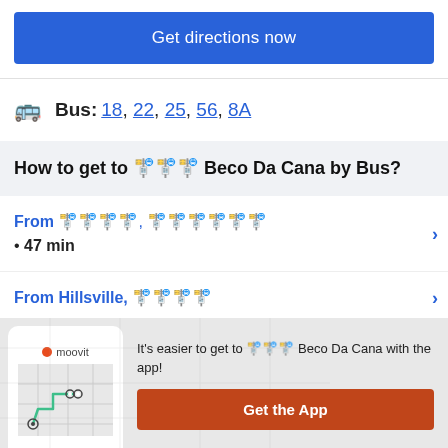Get directions now
Bus: 18, 22, 25, 56, 8A
How to get to 🚏 Beco Da Cana by Bus?
From 🚏🚏🚏, 🚏🚏🚏🚏🚏🚏 • 47 min
From Hillsville, 🚏🚏🚏🚏
It's easier to get to 🚏🚏🚏 Beco Da Cana with the app!
Get the App